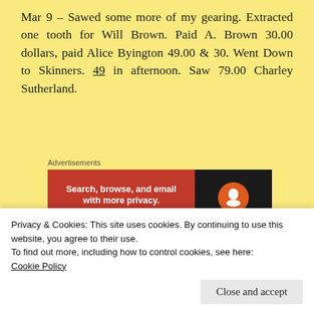Mar 9 – Sawed some more of my gearing. Extracted one tooth for Will Brown. Paid A. Brown 30.00 dollars, paid Alice Byington 49.00 & 30. Went Down to Skinners. 49 in afternoon. Saw 79.00 Charley Sutherland.
[Figure (other): DuckDuckGo advertisement banner: 'Search, browse, and email with more privacy. All in One Free App' on red background with DuckDuckGo duck logo on dark background]
Mar 10 – Went down to Jo Lees and Catharines.
Privacy & Cookies: This site uses cookies. By continuing to use this website, you agree to their use.
To find out more, including how to control cookies, see here:
Cookie Policy
up to this date.